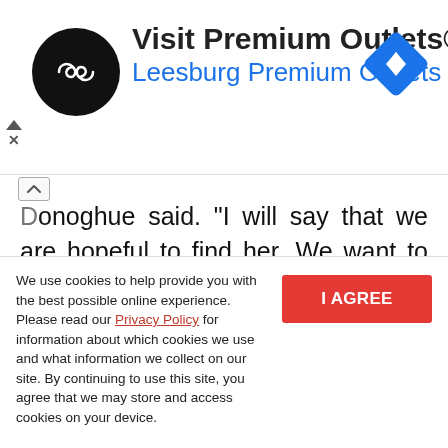[Figure (advertisement): Visit Premium Outlets® advertisement banner with circular black logo showing infinity-like symbol, blue text 'Leesburg Premium Outlets', and a blue diamond navigation icon on the right.]
Donoghue said. "I will say that we are hopeful to find her. We want to bring peace and closure to the Rivera family. This is a tragic event."
Dorsey has reunited with his son - who has been reported to be in good health - and he has
We use cookies to help provide you with the best possible online experience. Please read our Privacy Policy for information about which cookies we use and what information we collect on our site. By continuing to use this site, you agree that we may store and access cookies on your device.